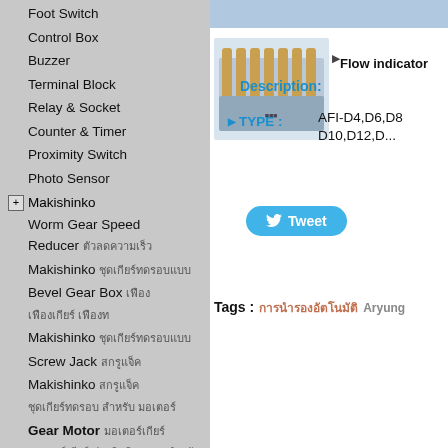Foot Switch
Control Box
Buzzer
Terminal Block
Relay & Socket
Counter & Timer
Proximity Switch
Photo Sensor
Makishinko
Worm Gear Speed Reducer [Thai text]
Makishinko [Thai text]
Bevel Gear Box [Thai text]
Makishinko [Thai text]
Screw Jack [Thai text]
Makishinko [Thai text]
Gear Motor [Thai text]
Makishinko [Thai text]
Tidland
[Figure (photo): Flow indicator product image showing multiple tube fittings/indicators in a row]
Flow indicator
Description:
TYPE : AFI-D4,D6,D8, D10,D12,D...
Tweet
Tags :
[Thai tag text]
Aryung